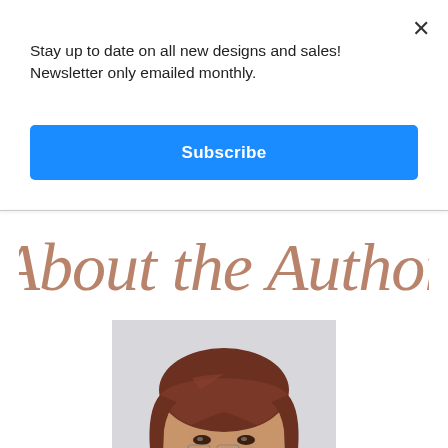×
Stay up to date on all new designs and sales! Newsletter only emailed monthly.
Subscribe
About the Author
[Figure (photo): Author photo: a woman with reddish-brown hair and glasses, wearing a black top, smiling and looking slightly downward]